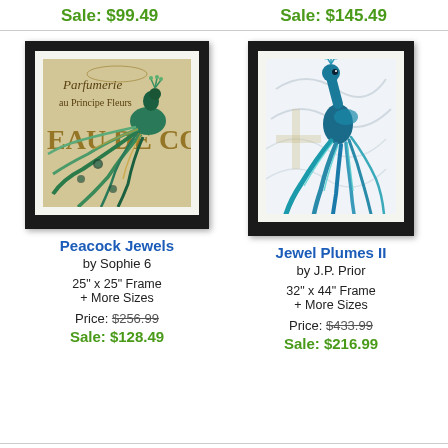Sale: $99.49
Sale: $145.49
[Figure (illustration): Framed art print of a peacock with colorful tail feathers, vintage French parfumerie background text reading 'Parfumerie au Principe Fleurs Eau de Co...', with black frame and white mat]
[Figure (illustration): Framed art print of a blue and teal peacock with flowing tail feathers on a light swirling background, with black frame and white mat]
Peacock Jewels
by Sophie 6
25" x 25" Frame
+ More Sizes
Price: $256.99
Sale: $128.49
Jewel Plumes II
by J.P. Prior
32" x 44" Frame
+ More Sizes
Price: $433.99
Sale: $216.99